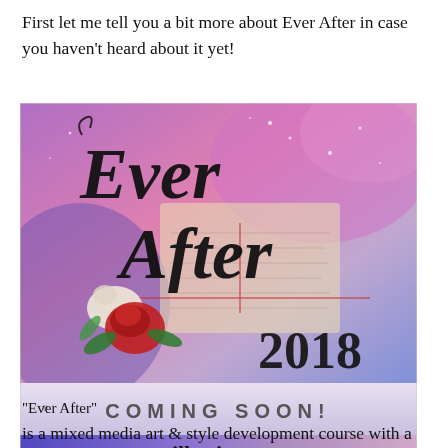First let me tell you a bit more about Ever After in case you haven't heard about it yet!
[Figure (illustration): Promotional image for 'Ever After 2018' mixed media art course with colorful abstract background, roses, decorative calligraphy text reading 'Ever After 2018 Coming Soon!' and 'willowing.org' banner at bottom]
“Ever After” is a mixed media art & style development course with a fairytale theme hosted by Tamara
“Ever After” is a mixed media art & style development course with a fairytale theme hosted by Tamara